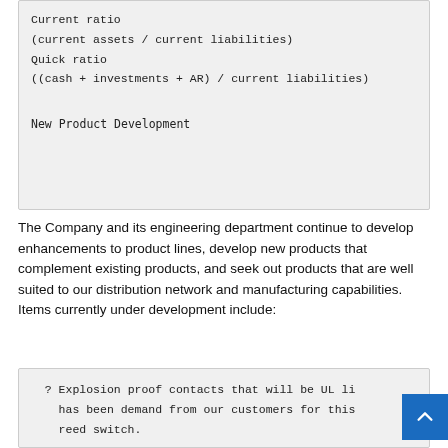Current ratio
(current assets / current liabilities)
Quick ratio
((cash + investments + AR) / current liabilities)
New Product Development
The Company and its engineering department continue to develop enhancements to product lines, develop new products that complement existing products, and seek out products that are well suited to our distribution network and manufacturing capabilities. Items currently under development include:
? Explosion proof contacts that will be UL li has been demand from our customers for this reed switch.